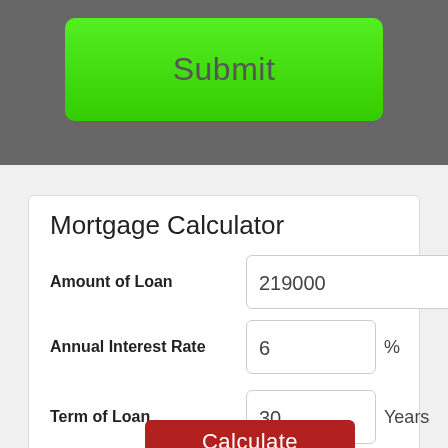[Figure (screenshot): Green Submit button on dark gray background panel]
Mortgage Calculator
Amount of Loan   219000
Annual Interest Rate   6 %
Term of Loan   30 Years
[Figure (screenshot): Red Calculate button]